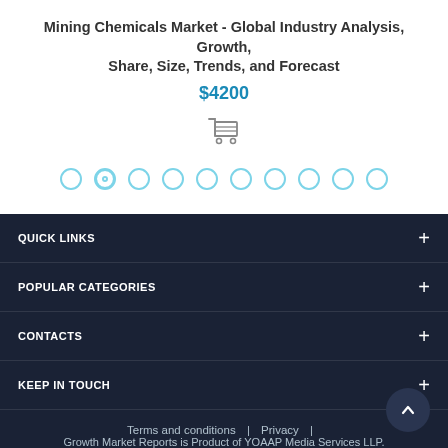Mining Chemicals Market - Global Industry Analysis, Growth, Share, Size, Trends, and Forecast
$4200
[Figure (other): Shopping cart icon]
[Figure (other): Pagination dots: 10 circles, second one highlighted]
QUICK LINKS
POPULAR CATEGORIES
CONTACTS
KEEP IN TOUCH
Terms and conditions | Privacy
Growth Market Reports is Product of YOAAP Media Services LLP.